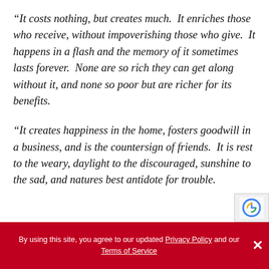“It costs nothing, but creates much.  It enriches those who receive, without impoverishing those who give.  It happens in a flash and the memory of it sometimes lasts forever.  None are so rich they can get along without it, and none so poor but are richer for its benefits.
“It creates happiness in the home, fosters goodwill in a business, and is the countersign of friends.  It is rest to the weary, daylight to the discouraged, sunshine to the sad, and natures best antidote for trouble.
By using this site, you agree to our updated Privacy Policy and our Terms of Service